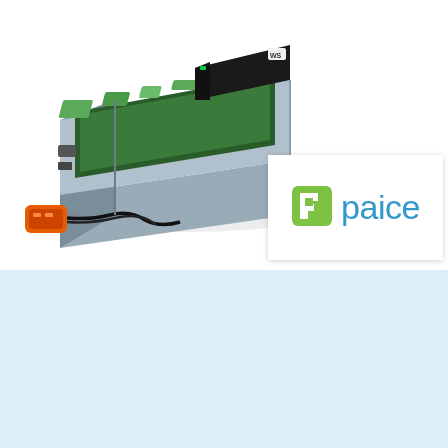[Figure (photo): Hybrid electric vehicle power electronics module / inverter unit with orange high-voltage connector and wiring, photographed on white background at an angle]
[Figure (logo): Paice company logo: green square icon with white letter P cutout, followed by the word 'paice' in blue text, on a white card with shadow]
[Figure (photo): Headshot portrait of a middle-aged man with short brown hair, smiling, wearing a dark suit, on a light blue background]